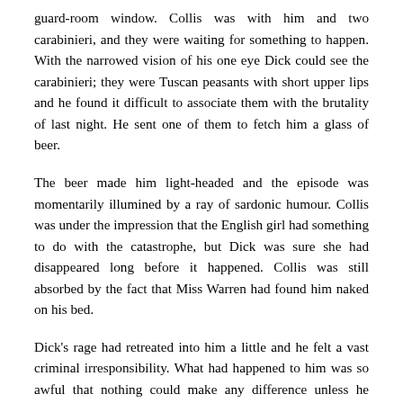guard-room window. Collis was with him and two carabinieri, and they were waiting for something to happen. With the narrowed vision of his one eye Dick could see the carabinieri; they were Tuscan peasants with short upper lips and he found it difficult to associate them with the brutality of last night. He sent one of them to fetch him a glass of beer.
The beer made him light-headed and the episode was momentarily illumined by a ray of sardonic humour. Collis was under the impression that the English girl had something to do with the catastrophe, but Dick was sure she had disappeared long before it happened. Collis was still absorbed by the fact that Miss Warren had found him naked on his bed.
Dick's rage had retreated into him a little and he felt a vast criminal irresponsibility. What had happened to him was so awful that nothing could make any difference unless he could choke it to death, and, as this was unlikely, he was hopeless. He would be a different person henceforward, and in his raw state he had bizarre feelings of what the new self would be. The matter had about it the impersonal quality of an act of God. No mature Aryan is able to profit by a humiliation; when he forgives, it has become part of his life, he has identified himself with the thing which has